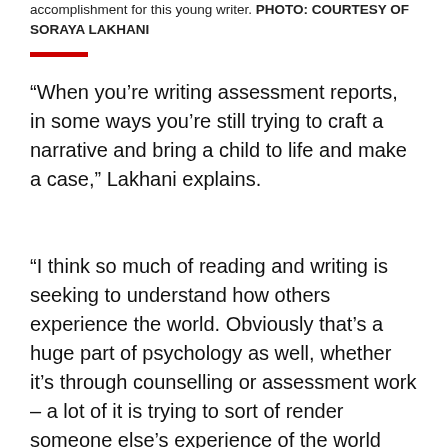accomplishment for this young writer. PHOTO: COURTESY OF SORAYA LAKHANI
“When you’re writing assessment reports, in some ways you’re still trying to craft a narrative and bring a child to life and make a case,” Lakhani explains.
“I think so much of reading and writing is seeking to understand how others experience the world. Obviously that’s a huge part of psychology as well, whether it’s through counselling or assessment work – a lot of it is trying to sort of render someone else’s experience of the world and try to support them based on how they experience the world.”